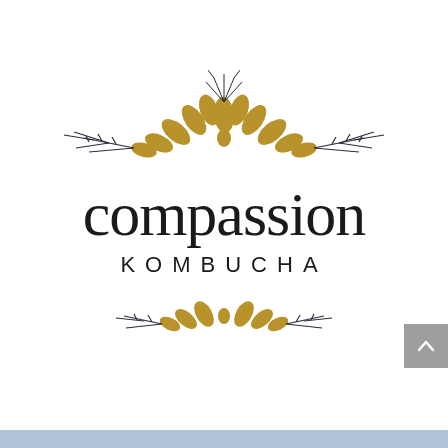[Figure (logo): Compassion Kombucha logo featuring decorative golden/tan leaf and floral ornaments above and below the brand name. The top ornament is larger with multiple leaf clusters and thin branch accents. The bottom ornament is smaller with leaf clusters and a central oval seed shape. Between the ornaments: 'compassion' in large serif lowercase and 'KOMBUCHA' in spaced sans-serif capitals.]